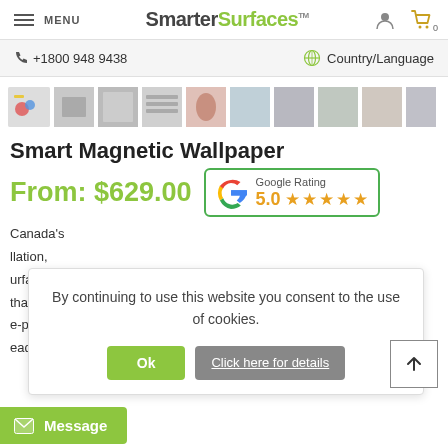MENU | SmarterSurfaces™ | [user icon] | [cart icon] 0
+18009489438 | Country/Language
[Figure (screenshot): Row of product thumbnail images for Smart Magnetic Wallpaper]
Smart Magnetic Wallpaper
From: $629.00
[Figure (infographic): Google Rating 5.0 with five orange stars]
By continuing to use this website you consent to the use of cookies.
Ok | Click here for details
Canada's llation, urface in that's fast to e-primed with a eady for topcoating with paint, a wallpaper
Message